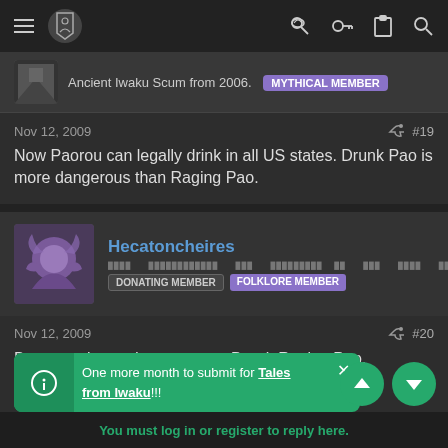Navigation bar with menu, logo, key, clipboard, search icons
Ancient Iwaku Scum from 2006. MYTHICAL MEMBER
Nov 12, 2009   #19
Now Paorou can legally drink in all US states. Drunk Pao is more dangerous than Raging Pao.
Hecatoncheires
DONATING MEMBER   FOLKLORE MEMBER
Nov 12, 2009   #20
But not quite as dangerous as Drunk Raging Pao.
One more month to submit for Tales from Iwaku!!!
You must log in or register to reply here.